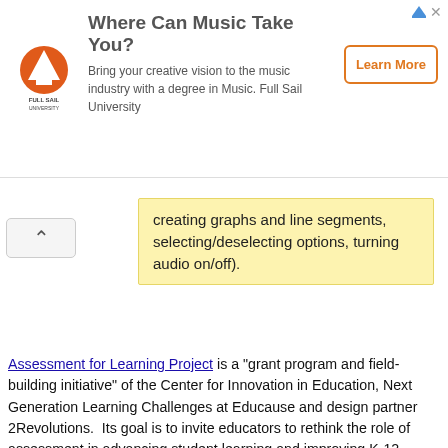[Figure (infographic): Advertisement banner for Full Sail University: 'Where Can Music Take You?' with Full Sail University logo, descriptive text, and Learn More button]
creating graphs and line segments, selecting/deselecting options, turning audio on/off).
Assessment for Learning Project is a "grant program and field-building initiative" of the Center for Innovation in Education, Next Generation Learning Challenges at Educause and design partner 2Revolutions.  Its goal is to invite educators to rethink the role of assessment in advancing student learning and improving K-12 education.  Learn more about performance assessment, formative assessment, capstone projects, portfolios, and exhibitions of learning, and community engaged success definitions.
Assessment Basics is a category from Northwest Evaluation Association (NWEA), which includes multiple resources for developing an understanding of